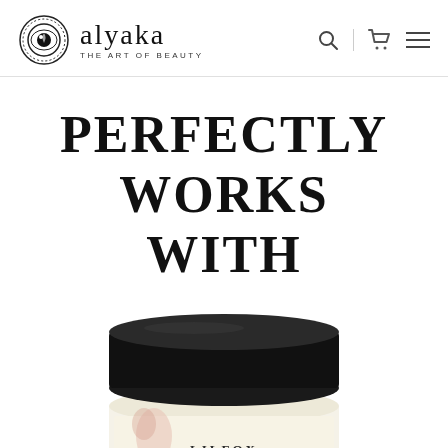alyaka THE ART OF BEAUTY
PERFECTLY WORKS WITH
[Figure (photo): A cosmetic jar with black lid labeled LILFOX, partially visible at the bottom of the page]